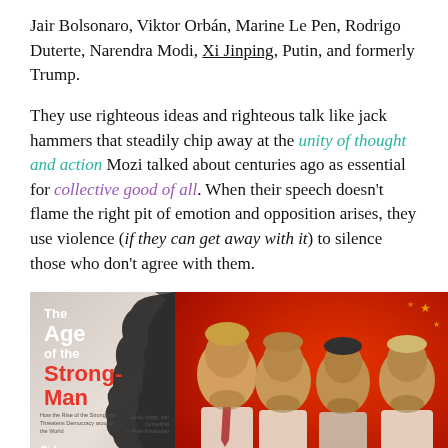Jair Bolsonaro, Viktor Orbán, Marine Le Pen, Rodrigo Duterte, Narendra Modi, Xi Jinping, Putin, and formerly Trump.
They use righteous ideas and righteous talk like jack hammers that steadily chip away at the unity of thought and action Mozi talked about centuries ago as essential for collective good of all. When their speech doesn't flame the right pit of emotion and opposition arises, they use violence (if they can get away with it) to silence those who don't agree with them.
[Figure (photo): Two images side by side: left is the book cover of 'The Age of the Strong-Man' by Gideon Rachman showing silhouetted profiles; right is a red-toned illustrated image of four world leaders (Trump, Orbán, Xi Jinping, Putin) in profile.]